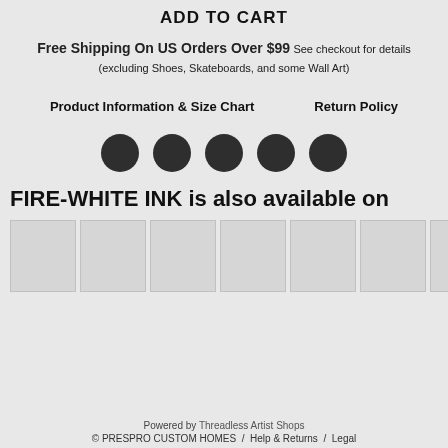ADD TO CART
Free Shipping On US Orders Over $99 See checkout for details (excluding Shoes, Skateboards, and some Wall Art)
Product Information & Size Chart    Return Policy
[Figure (other): Five dark circular color/option selector dots in a row]
FIRE-WHITE INK is also available on
[Figure (other): Six product thumbnail image placeholders in a horizontal row]
Powered by Threadless Artist Shops © PRESPRO CUSTOM HOMES / Help & Returns / Legal